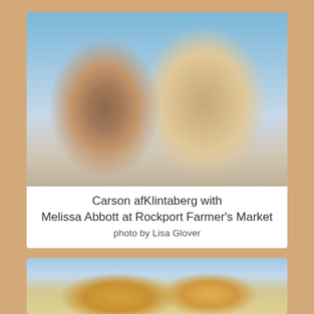[Figure (photo): Two women smiling together outdoors at Rockport Farmer's Market. The woman on the left wears a purple apron and blue headband, the woman on the right wears a dark polka-dot top and has blonde hair.]
Carson afKlintaberg with Melissa Abbott at Rockport Farmer's Market photo by Lisa Glover
[Figure (photo): Baked bread rolls or buns wrapped in clear plastic bags at a farmers market.]